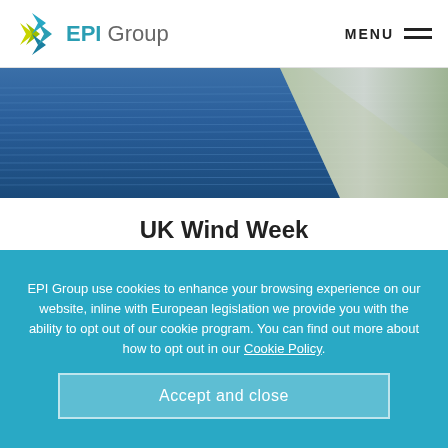EPI Group — MENU
[Figure (photo): Aerial or close-up view of water surface with blue tones and a diagonal light-colored element, likely a wind turbine or sail reflection.]
UK Wind Week
Next week is #UKWindWeek 2020! Very timely, on the heels of the Prime Ministers 10-point green plan announcement, which includes a pledge to quadruple offshore wind power by 2030, to 40GW,...
EPI Group use cookies to enhance your browsing experience on our website, inline with European legislation we provide you with the ability to opt out of our cookie program. You can find out more about how to opt out in our Cookie Policy.
Accept and close